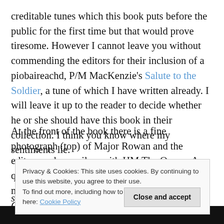creditable tunes which this book puts before the public for the first time but that would prove tiresome. However I cannot leave you without commending the editors for their inclusion of a piobaireachd, P/M MacKenzie's Salute to the Soldier, a tune of which I have written already. I will leave it up to the reader to decide whether he or she should have this book in their collection. I think you know where my sentiments lie.
At the front of the book there is a fine photograph (top) of Major Rowan and the editors and compilers with HM The Queen. A quote from her gracious introduction provides me with a suitable sign off: 'In my 70th year as Colonel-in-Chief,
Privacy & Cookies: This site uses cookies. By continuing to use this website, you agree to their use. To find out more, including how to control cookies, see here: Cookie Policy
Close and accept
stories of shared experiences, thoughts of home and of s